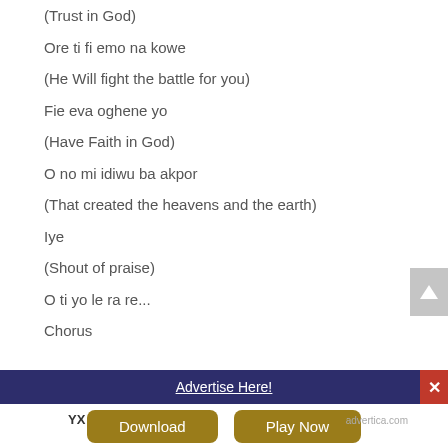(Trust in God)
Ore ti fi emo na kowe
(He Will fight the battle for you)
Fie eva oghene yo
(Have Faith in God)
O no mi idiwu ba akpor
(That created the heavens and the earth)
Iye
(Shout of praise)
O ti yo le ra re...
Chorus
Advertise Here!
Download   Play Now
advertica.com